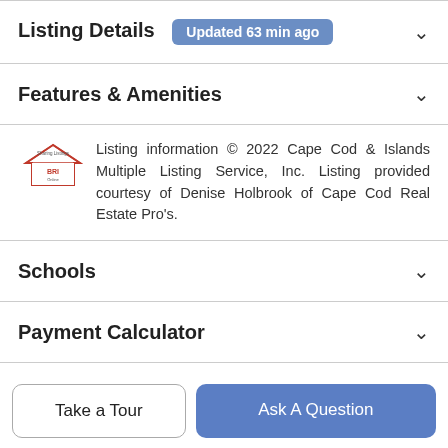Listing Details Updated 63 min ago
Features & Amenities
Listing information © 2022 Cape Cod & Islands Multiple Listing Service, Inc. Listing provided courtesy of Denise Holbrook of Cape Cod Real Estate Pro's.
Schools
Payment Calculator
Contact Agent
[Figure (logo): Leighton real estate logo (partial, blue arch shape)]
Take a Tour
Ask A Question